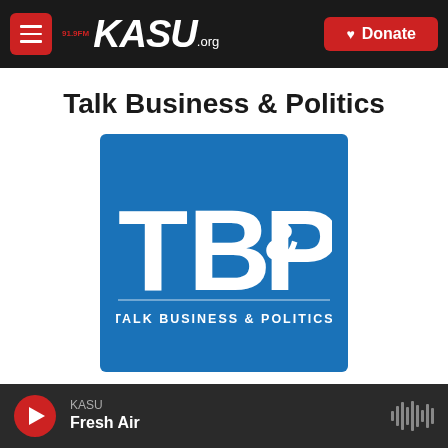91.9 FM KASU.org — Donate
Talk Business & Politics
[Figure (logo): Talk Business & Politics (TB&P) logo — large white letters TB&P on a blue background with text 'TALK BUSINESS & POLITICS' below]
KASU — Fresh Air (audio player bar)